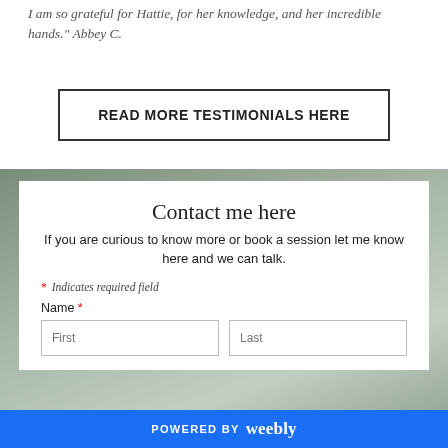I am so grateful for Hattie, for her knowledge, and her incredible hands." Abbey C.
READ MORE TESTIMONIALS HERE
Contact me here
If you are curious to know more or book a session let me know here and we can talk.
* Indicates required field
Name *
POWERED BY weebly